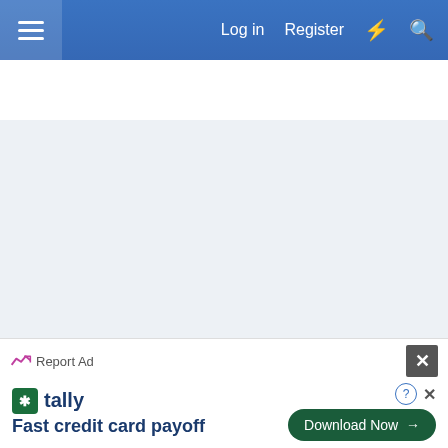Log in  Register
[Figure (screenshot): Light blue/grey content area with faint watermark-like text pattern, representing a blurred or loading page content area]
Report Ad
1 of 4  Next ▶  ▶▶
[Figure (infographic): Bottom advertisement banner: Tally app ad with logo, tagline 'Fast credit card payoff', and 'Download Now' button]